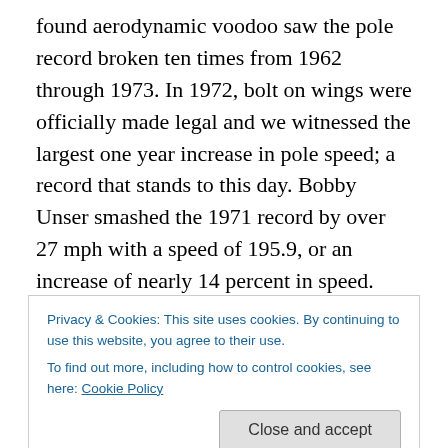found aerodynamic voodoo saw the pole record broken ten times from 1962 through 1973. In 1972, bolt on wings were officially made legal and we witnessed the largest one year increase in pole speed; a record that stands to this day. Bobby Unser smashed the 1971 record by over 27 mph with a speed of 195.9, or an increase of nearly 14 percent in speed. The contemporary open wheel car had been created, and this is what is ingrained in all of our minds when we think of indycar racing. Technical innovation from the mid 70's to the early 2000's was very similar to the roadster era: small innovations found speed
Privacy & Cookies: This site uses cookies. By continuing to use this website, you agree to their use.
To find out more, including how to control cookies, see here: Cookie Policy
limit turbocharger boost, horsepower and therefore speed